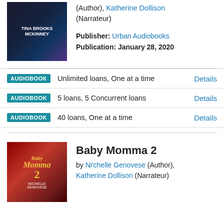[Figure (illustration): Book cover for an audiobook by Tina Brooks McKinney, dark stylized cover with woman and title text]
(Author), Katherine Dollison (Narrateur)
Publisher: Urban Audiobooks
Publication: January 28, 2020
AUDIOBOOK   Unlimited loans, One at a time   Details
AUDIOBOOK   5 loans, 5 Concurrent loans   Details
AUDIOBOOK   40 loans, One at a time   Details
[Figure (illustration): Book cover for Baby Momma 2 by Ni'chelle Genovese, red dramatic cover with woman]
Baby Momma 2
by Ni'chelle Genovese (Author), Katherine Dollison (Narrateur)